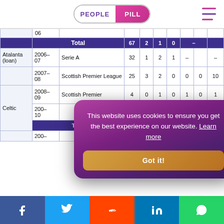PEOPLE PILL
| Club | Season | League/Competition | Apps | Goals | Cups Apps | Cups Goals | Europe Apps | Europe Goals | Total |
| --- | --- | --- | --- | --- | --- | --- | --- | --- | --- |
|  | 06 |  |  |  |  |  |  |  |  |
| Total |  |  | 67 | 2 | 1 | 0 | – |  |  |
| Atalanta (loan) | 2006–07 | Serie A | 32 | 1 | 2 | 1 | – |  | – |
|  | 2007–08 | Scottish Premier League | 25 | 3 | 2 | 0 | 0 | 0 | 10 |
| Celtic | 2008–09 | Scottish Premier | 4 | 0 | 1 | 0 | 1 | 0 | 1 |
|  | 200–10 |  |  |  |  |  |  |  | 4 |
|  | Total |  |  |  |  |  |  |  | 15 |
|  | 200– |  |  |  |  |  |  |  |  |
This website uses cookies to ensure you get the best experience on our website. Learn more
Facebook Twitter Reddit LinkedIn WhatsApp